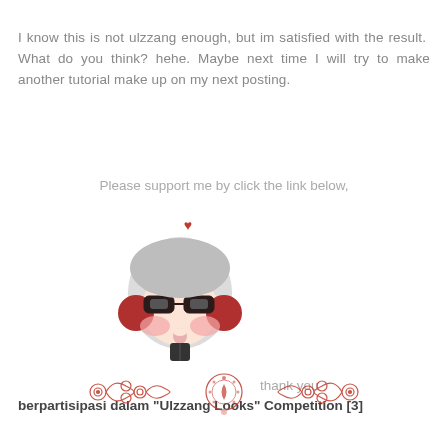I know this is not ulzzang enough, but im satisfied with the result.  What do you think? hehe. Maybe next time I will try to make another tutorial make up on my next posting.
Please support me by click the link below,
[Figure (illustration): Cute cartoon girl illustration with gray hair, big glasses, rosy cheeks, and a small red heart above her head]
thank you
berpartisipasi dalam "Ulzzang Looks" Competition [3]
[Figure (illustration): Decorative ornamental divider with scrollwork and floral motifs in red/pink tones]